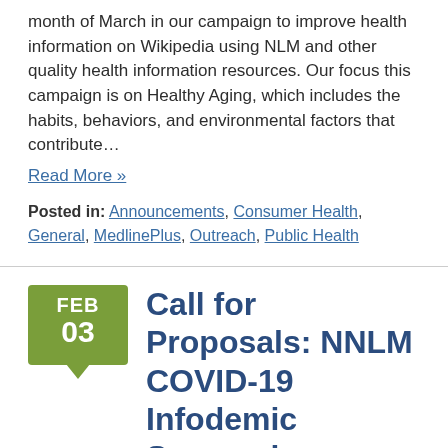month of March in our campaign to improve health information on Wikipedia using NLM and other quality health information resources. Our focus this campaign is on Healthy Aging, which includes the habits, behaviors, and environmental factors that contribute…
Read More »
Posted in: Announcements, Consumer Health, General, MedlinePlus, Outreach, Public Health
Call for Proposals: NNLM COVID-19 Infodemic Symposium
Posted by Sharon Han on February 3rd, 2021
The Network of the National Library of Medicine invites proposals for a virtual symposium: Responding to the COVID-19 Infodemic, on April 8th-9th, 2021. The